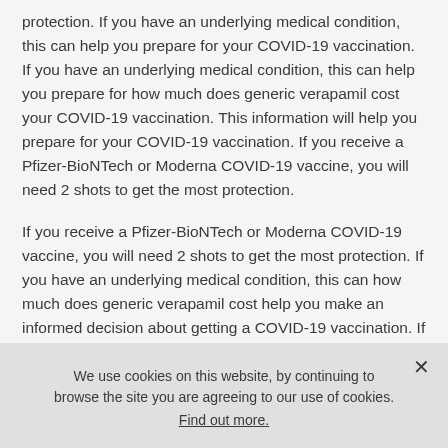protection. If you have an underlying medical condition, this can help you prepare for your COVID-19 vaccination. If you have an underlying medical condition, this can help you prepare for how much does generic verapamil cost your COVID-19 vaccination. This information will help you prepare for your COVID-19 vaccination. If you receive a Pfizer-BioNTech or Moderna COVID-19 vaccine, you will need 2 shots to get the most protection.
If you receive a Pfizer-BioNTech or Moderna COVID-19 vaccine, you will need 2 shots to get the most protection. If you have an underlying medical condition, this can how much does generic verapamil cost help you make an informed decision about getting a COVID-19 vaccination. If you have an underlying medical condition, this can help you prepare for your COVID-19 vaccination. If you have an
We use cookies on this website, by continuing to browse the site you are agreeing to our use of cookies. Find out more.